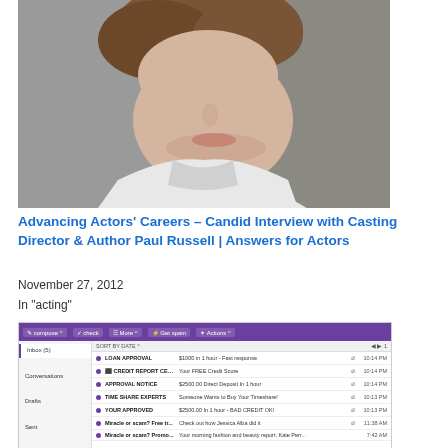[Figure (photo): Close-up photo of a man wearing a white shirt, shot from below chin level, looking slightly upward]
Advancing Actors' Careers – Candid Interview with Casting Director & Author Paul Russell | Answers for Actors
November 27, 2012
In "acting"
[Figure (screenshot): Screenshot of a Yahoo Mail inbox showing spam emails including LOAN APPROVAL, CREDIT REPORT CEN..., APPROVAL NOTICE, TIME SHARE EXPERTS, YOUR APPROVED, Miracle or scam? Free tr..., and another Miracle or scam? Promo item. Emails show times around 10:13-10:14 PM and 11:38 AM.]